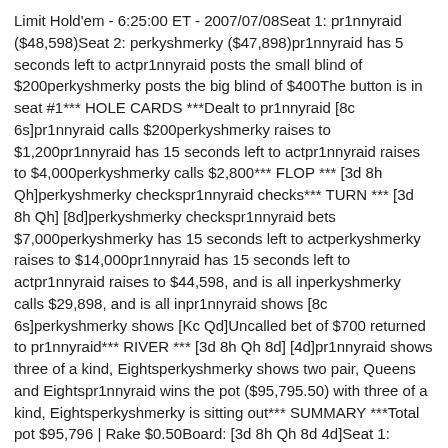Limit Hold'em - 6:25:00 ET - 2007/07/08Seat 1: pr1nnyraid ($48,598)Seat 2: perkyshmerky ($47,898)pr1nnyraid has 5 seconds left to actpr1nnyraid posts the small blind of $200perkyshmerky posts the big blind of $400The button is in seat #1*** HOLE CARDS ***Dealt to pr1nnyraid [8c 6s]pr1nnyraid calls $200perkyshmerky raises to $1,200pr1nnyraid has 15 seconds left to actpr1nnyraid raises to $4,000perkyshmerky calls $2,800*** FLOP *** [3d 8h Qh]perkyshmerky checkspr1nnyraid checks*** TURN *** [3d 8h Qh] [8d]perkyshmerky checkspr1nnyraid bets $7,000perkyshmerky has 15 seconds left to actperkyshmerky raises to $14,000pr1nnyraid has 15 seconds left to actpr1nnyraid raises to $44,598, and is all inperkyshmerky calls $29,898, and is all inpr1nnyraid shows [8c 6s]perkyshmerky shows [Kc Qd]Uncalled bet of $700 returned to pr1nnyraid*** RIVER *** [3d 8h Qh 8d] [4d]pr1nnyraid shows three of a kind, Eightsperkyshmerky shows two pair, Queens and Eightspr1nnyraid wins the pot ($95,795.50) with three of a kind, Eightsperkyshmerky is sitting out*** SUMMARY ***Total pot $95,796 | Rake $0.50Board: [3d 8h Qh 8d 4d]Seat 1: pr1nnyraid (small blind) showed [8c 6s] and won ($95, 795.50) with three of a kind, EightsSeat 2: perkyshmerky (big blind) showed [Kc Qd] and lost with two pair, Queens and